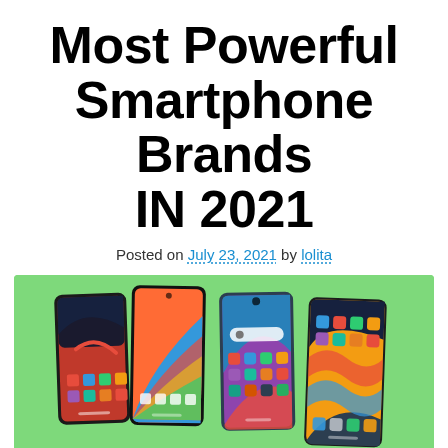Most Powerful Smartphone Brands IN 2021
Posted on July 23, 2021 by lolita
[Figure (photo): Four smartphones displayed side by side on a green background, each showing different colorful wallpapers and home screens]